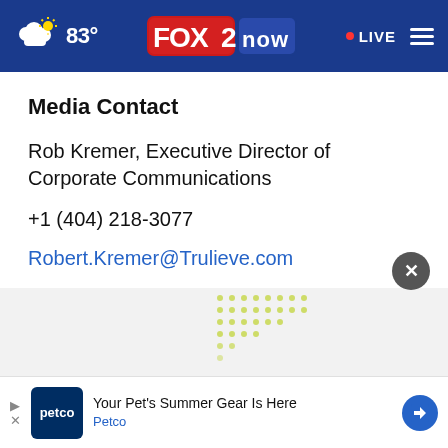FOX 2 NOW | 83° | LIVE
Media Contact
Rob Kremer, Executive Director of Corporate Communications
+1 (404) 218-3077
Robert.Kremer@Trulieve.com
[Figure (screenshot): Bottom advertisement banner showing Petco logo and text: Your Pet's Summer Gear Is Here, Petco, with navigation arrow icon]
[Figure (other): Partial decorative dot pattern in lower center area]